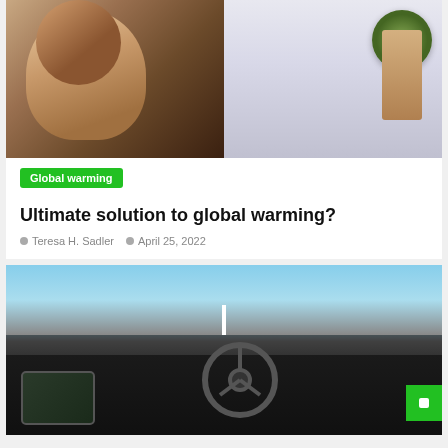[Figure (photo): Split photo: left side shows a woman looking upward with dark hair, right side shows a hand holding a small glass jar with green content]
Global warming
Ultimate solution to global warming?
Teresa H. Sadler   April 25, 2022
[Figure (photo): Interior view of a Cadillac vehicle showing the steering wheel, dashboard displays, and a highway road ahead visible through the windshield]